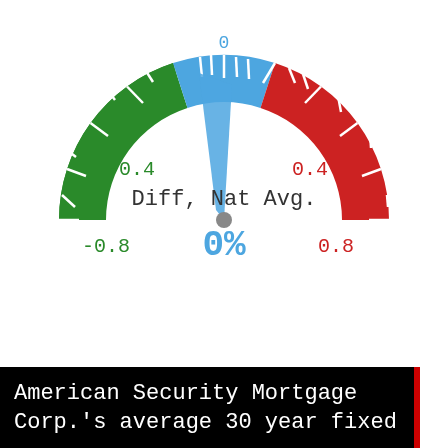[Figure (other): A semicircular gauge/speedometer showing 'Diff, Nat Avg.' with needle pointing to 0%. The left half of the gauge is green (negative values from -2 to -0.4), the top center is blue (near 0), and the right half is red (positive values from 0.4 to 2). The center displays '0%' in blue text. Tick marks are visible along the arc.]
American Security Mortgage Corp.'s average 30 year fixed